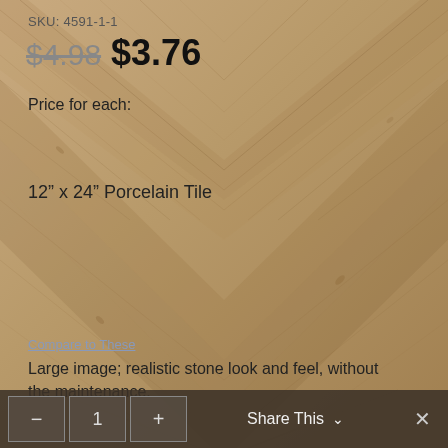SKU: 4591-1-1
$4.98 $3.76
Price for each:
12" x 24" Porcelain Tile
Compare to These
Large image; realistic stone look and feel, without the maintenance.
[Figure (photo): Chevron pattern wood-look porcelain tile in warm beige/tan tones]
- 1 + Share This ✓ ×